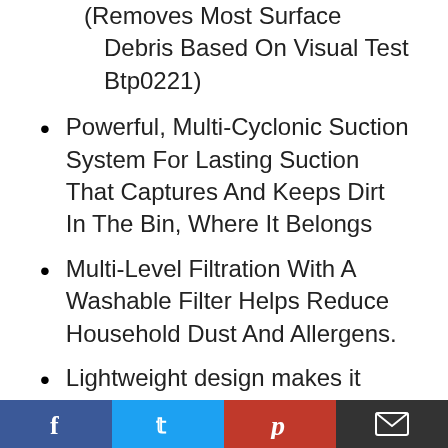(Removes Most Surface Debris Based On Visual Test Btp0221)
Powerful, Multi-Cyclonic Suction System For Lasting Suction That Captures And Keeps Dirt In The Bin, Where It Belongs
Multi-Level Filtration With A Washable Filter Helps Reduce Household Dust And Allergens.
Lightweight design makes it easy to carry and push without sacrificing power.
Extended Cleaning Reach With A 25-Foot Power Cord, 6-Foot Hose, And 13.5 Inch Cleaning Path